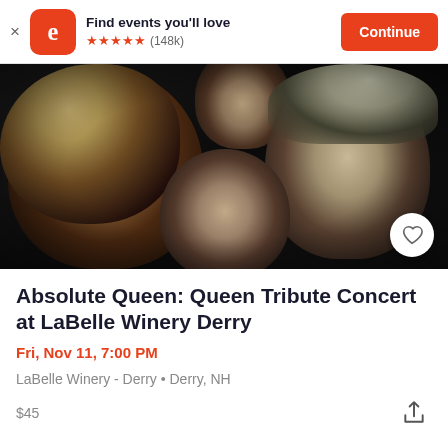Find events you'll love ★★★★★ (148k) Continue
[Figure (photo): Promotional photo of four band members against dark background for Absolute Queen tribute band]
Absolute Queen: Queen Tribute Concert at LaBelle Winery Derry
Fri, Nov 11, 7:00 PM
LaBelle Winery - Derry • Derry, NH
$45